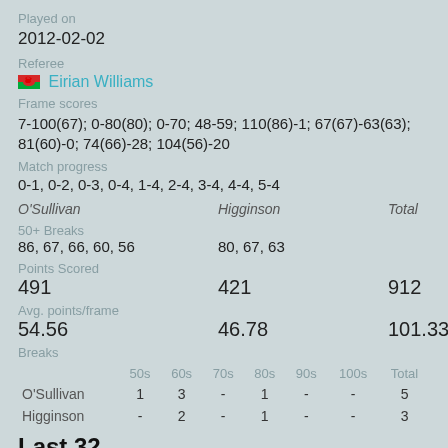Played on
2012-02-02
Referee
Eirian Williams
Frame scores
7-100(67); 0-80(80); 0-70; 48-59; 110(86)-1; 67(67)-63(63); 81(60)-0; 74(66)-28; 104(56)-20
Match progress
0-1, 0-2, 0-3, 0-4, 1-4, 2-4, 3-4, 4-4, 5-4
|  | O'Sullivan | Higginson | Total |
| --- | --- | --- | --- |
| 50+ Breaks |  |  |  |
|  | 86, 67, 66, 60, 56 | 80, 67, 63 |  |
| Points Scored |  |  |  |
|  | 491 | 421 | 912 |
| Avg. points/frame |  |  |  |
|  | 54.56 | 46.78 | 101.33 |
| Breaks |  |  |  |
|  | 50s | 60s | 70s | 80s | 90s | 100s | Total |
| --- | --- | --- | --- | --- | --- | --- | --- |
| O'Sullivan | 1 | 3 | - | 1 | - | - | 5 |
| Higginson | - | 2 | - | 1 | - | - | 3 |
Last 32